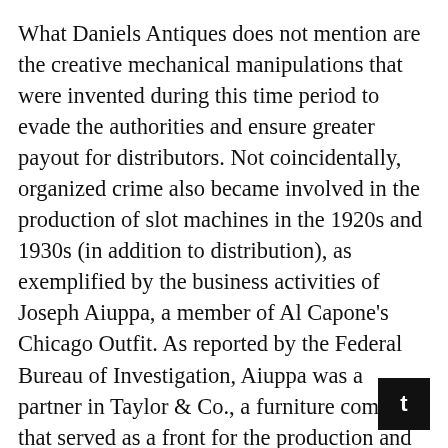What Daniels Antiques does not mention are the creative mechanical manipulations that were invented during this time period to evade the authorities and ensure greater payout for distributors. Not coincidentally, organized crime also became involved in the production of slot machines in the 1920s and 1930s (in addition to distribution), as exemplified by the business activities of Joseph Aiuppa, a member of Al Capone's Chicago Outfit. As reported by the Federal Bureau of Investigation, Aiuppa was a partner in Taylor & Co., a furniture company that served as a front for the production and distribution of slot machines.  The company most notably altered one-armed bandit machines to circumvent the Federal statute that prohibited interstate trafficking of gambling devices.  The machine, marked The Trade Booster, changed the standard coin-operated slot to an elect slot operated via cable by the bartender.  Aiuppa was